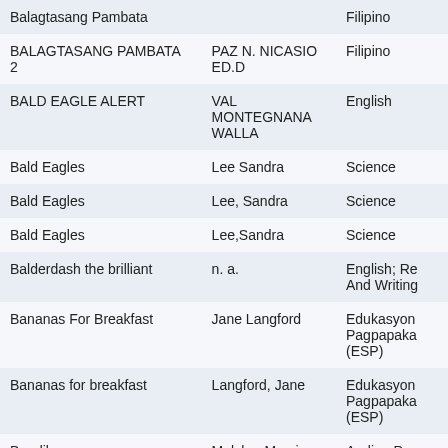| Title | Author | Subject |
| --- | --- | --- |
| Balagtasang Pambata |  | Filipino |
| BALAGTASANG PAMBATA 2 | PAZ N. NICASIO ED.D | Filipino |
| BALD EAGLE ALERT | VAL MONTEGNANA WALLA | English |
| Bald Eagles | Lee Sandra | Science |
| Bald Eagles | Lee, Sandra | Science |
| Bald Eagles | Lee,Sandra | Science |
| Balderdash the brilliant | n. a. | English; Re And Writing |
| Bananas For Breakfast | Jane Langford | Edukasyon Pagpapaka (ESP) |
| Bananas for breakfast | Langford, Jane | Edukasyon Pagpapaka (ESP) |
| Bandila | Melchor,Merci | Araling Pan |
| Bandila : The Story of the |  |  |